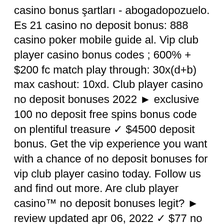casino bonus şartları - abogadopozuelo. Es 21 casino no deposit bonus: 888 casino poker mobile guide al. Vip club player casino bonus codes ; 600% + $200 fc match play through: 30x(d+b) max cashout: 10xd. Club player casino no deposit bonuses 2022 ► exclusive 100 no deposit free spins bonus code on plentiful treasure ✓ $4500 deposit bonus. Get the vip experience you want with a chance of no deposit bonuses for vip club player casino today. Follow us and find out more. Are club player casino™ no deposit bonuses legit? ► review updated apr 06, 2022 ✓ $77 no deposit bonus code for slots ✓ withdraw winnings instantly! Browse all bonuses offered by vip club player casino, including their no deposit bonus offers and first deposit welcome bonuses. Up to 150% match bonus for club levels at vip slots casino. Usa no deposit bonuses, free chips and extra spins, could be among them. The